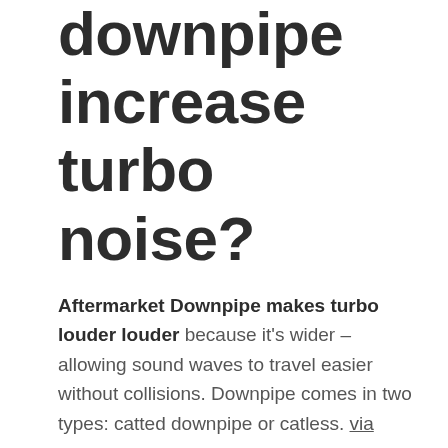downpipe increase turbo noise?
Aftermarket Downpipe makes turbo louder louder because it's wider – allowing sound waves to travel easier without collisions. Downpipe comes in two types: catted downpipe or catless. via
Is Catless downpipe loud?